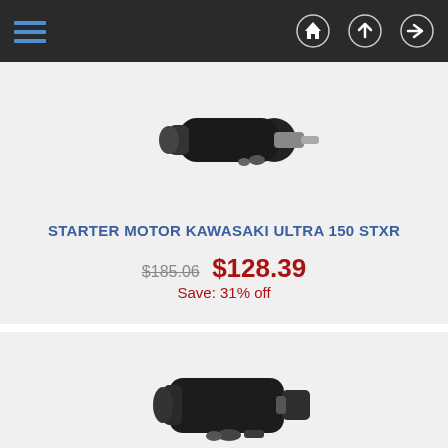Navigation bar with hamburger menu and icons
[Figure (photo): Photo of a starter motor for Kawasaki Ultra 150 STXR — black cylindrical motor with metal shaft]
STARTER MOTOR KAWASAKI ULTRA 150 STXR
$185.06  $128.39  Save: 31% off
[Figure (photo): Photo of a starter motor for Yamaha FX140/FX1000 — black compact motor unit]
STARTER MOTOR YAMAHA FX140/FX1000
$206.46  $149.79  Save: 27% off